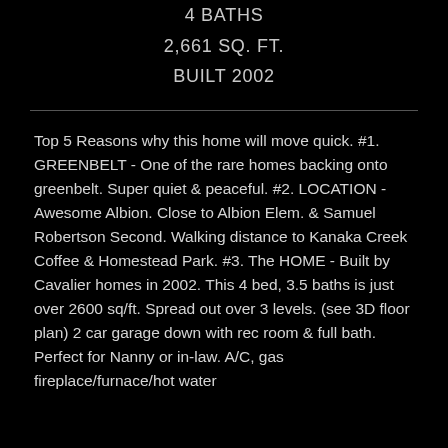4 BATHS
2,661 SQ. FT.
BUILT 2002
Top 5 Reasons why this home will move quick. #1. GREENBELT - One of the rare homes backing onto greenbelt. Super quiet & peaceful. #2. LOCATION - Awesome Albion. Close to Albion Elem. & Samuel Robertson Second. Walking distance to Kanaka Creek Coffee & Homestead Park. #3. The HOME - Built by Cavalier homes in 2002. This 4 bed, 3.5 baths is just over 2600 sq/ft. Spread out over 3 levels. (see 3D floor plan) 2 car garage down with rec room & full bath. Perfect for Nanny or in-law. A/C, gas fireplace/furnace/hot water heater. BONUS - The goods & more follow us to the...